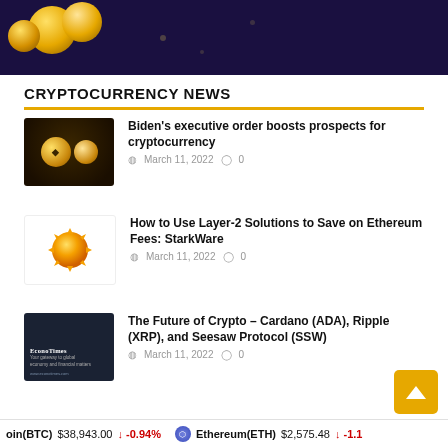[Figure (illustration): Dark purple/navy banner with golden coins floating, cryptocurrency themed header image]
CRYPTOCURRENCY NEWS
Biden's executive order boosts prospects for cryptocurrency — March 11, 2022 — 0 comments
How to Use Layer-2 Solutions to Save on Ethereum Fees: StarkWare — March 11, 2022 — 0 comments
The Future of Crypto – Cardano (ADA), Ripple (XRP), and Seesaw Protocol (SSW) — March 11, 2022 — 0 comments
Bitcoin(BTC) $38,943.00 ↓ -0.94%   Ethereum(ETH) $2,575.48 ↓ -1.1%